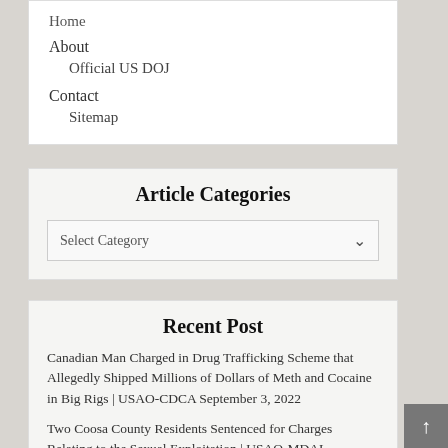Home
About
Official US DOJ
Contact
Sitemap
Article Categories
Select Category
Recent Post
Canadian Man Charged in Drug Trafficking Scheme that Allegedly Shipped Millions of Dollars of Meth and Cocaine in Big Rigs | USAO-CDCA September 3, 2022
Two Coosa County Residents Sentenced for Charges Relating to the Sexual Exploitation | USAO-MDAL September 2, 2022
Arizona Man Sentenced for Trafficking Fentanyl in Eastern